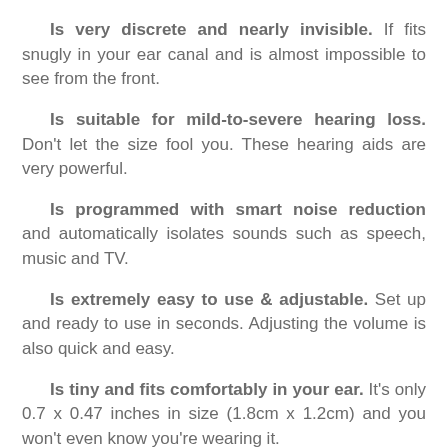Is very discrete and nearly invisible. If fits snugly in your ear canal and is almost impossible to see from the front.
Is suitable for mild-to-severe hearing loss. Don't let the size fool you. These hearing aids are very powerful.
Is programmed with smart noise reduction and automatically isolates sounds such as speech, music and TV.
Is extremely easy to use & adjustable. Set up and ready to use in seconds. Adjusting the volume is also quick and easy.
Is tiny and fits comfortably in your ear. It's only 0.7 x 0.47 inches in size (1.8cm x 1.2cm) and you won't even know you're wearing it.